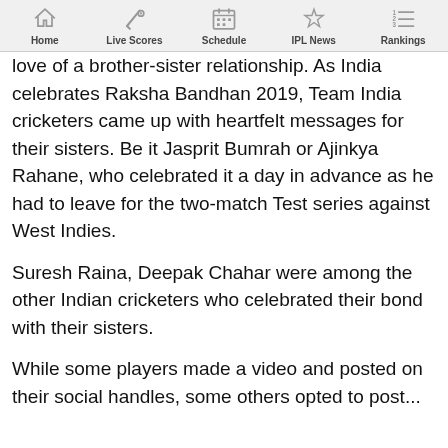Home | Live Scores | Schedule | IPL News | Rankings
love of a brother-sister relationship. As India celebrates Raksha Bandhan 2019, Team India cricketers came up with heartfelt messages for their sisters. Be it Jasprit Bumrah or Ajinkya Rahane, who celebrated it a day in advance as he had to leave for the two-match Test series against West Indies.
Suresh Raina, Deepak Chahar were among the other Indian cricketers who celebrated their bond with their sisters.
While some players made a video and posted on their social handles, some others opted to post...